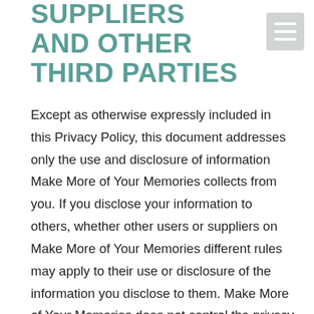SUPPLIERS AND OTHER THIRD PARTIES
Except as otherwise expressly included in this Privacy Policy, this document addresses only the use and disclosure of information Make More of Your Memories collects from you. If you disclose your information to others, whether other users or suppliers on Make More of Your Memories different rules may apply to their use or disclosure of the information you disclose to them. Make More of Your Memories does not control the privacy policies of third parties, and you are subject to the privacy policies of those third parties where applicable. Make More of Your Memories is not responsible for the privacy or security practices of other websites on the Internet, even those linked to or from theMake More of Your